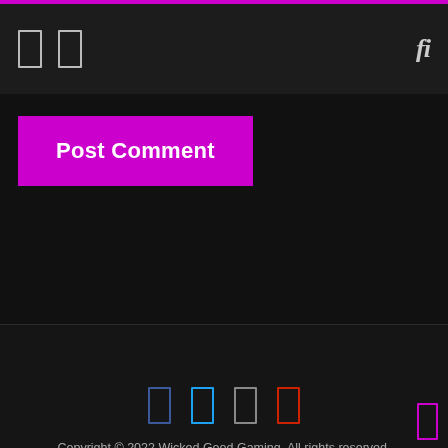Navigation header with icons and search
Post Comment
Copyright © 2022 Wicked Good Gaming. All rights reserved. Theme: ColorMag by ThemeGrill. Powered by WordPress.